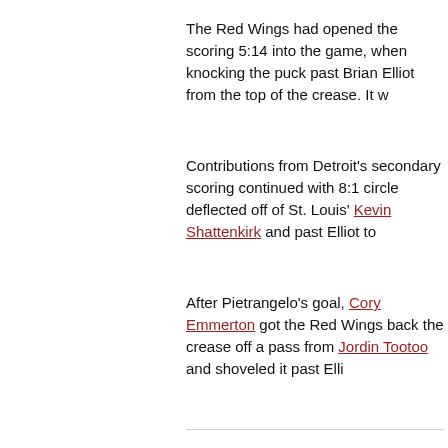The Red Wings had opened the scoring 5:14 into the game, when knocking the puck past Brian Elliot from the top of the crease. It w
Contributions from Detroit's secondary scoring continued with 8:1 circle deflected off of St. Louis' Kevin Shattenkirk and past Elliot to
After Pietrangelo's goal, Cory Emmerton got the Red Wings back the crease off a pass from Jordin Tootoo and shoveled it past Elli
Damien Brunner added one more goal before the end of the perio Blues' zone back to Jonathan Ericsson, who's shot from the point
Valtteri Filppula rounded out the scoring with 6:25 left in the third a blue line and the puck came out to the neutral zone, where Filppu flip a shot past him.
Elliot finished the night with 24 saves on 29 shots against.
Detroit failed to score on their lone power play chance of the night
The Red Wings return to Joe Louis Arena on Saturday to host the